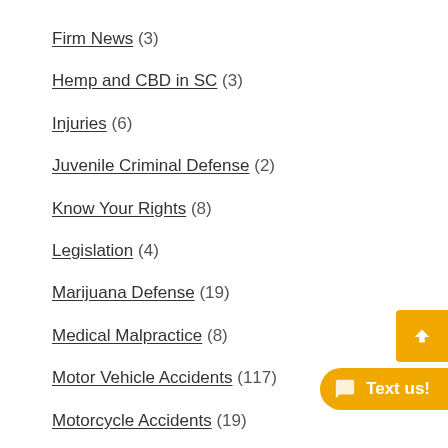Firm News (3)
Hemp and CBD in SC (3)
Injuries (6)
Juvenile Criminal Defense (2)
Know Your Rights (8)
Legislation (4)
Marijuana Defense (19)
Medical Malpractice (8)
Motor Vehicle Accidents (117)
Motorcycle Accidents (19)
Music and Intellectual Property (1)
Nursing Home Abuse (6)
PCR – Post-Conviction Relief (2)